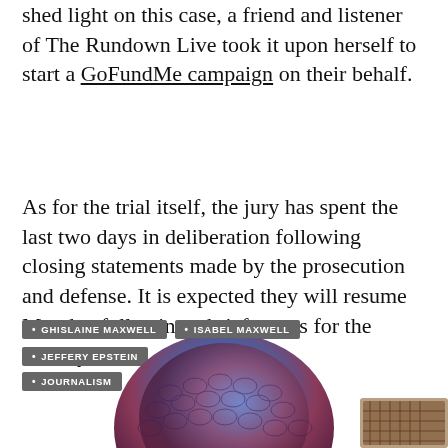shed light on this case, a friend and listener of The Rundown Live took it upon herself to start a GoFundMe campaign on their behalf.
As for the trial itself, the jury has spent the last two days in deliberation following closing statements made by the prosecution and defense. It is expected they will resume Monday following a brief recess for the holidays.
GHISLAINE MAXWELL
ISABEL MAXWELL
JEFFERY EPSTEIN
JOURNALISM
[Figure (illustration): Partial view of a decorative illustration, appears to show a bird or artistic motif in blue/red tones at the bottom of the page]